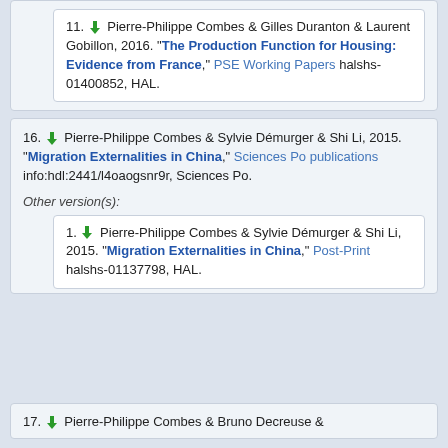HAL.
11. Pierre-Philippe Combes & Gilles Duranton & Laurent Gobillon, 2016. "The Production Function for Housing: Evidence from France," PSE Working Papers halshs-01400852, HAL.
16. Pierre-Philippe Combes & Sylvie Démurger & Shi Li, 2015. "Migration Externalities in China," Sciences Po publications info:hdl:2441/l4oaogsnr9r, Sciences Po.
Other version(s):
1. Pierre-Philippe Combes & Sylvie Démurger & Shi Li, 2015. "Migration Externalities in China," Post-Print halshs-01137798, HAL.
17. Pierre-Philippe Combes & Bruno Decreuse &